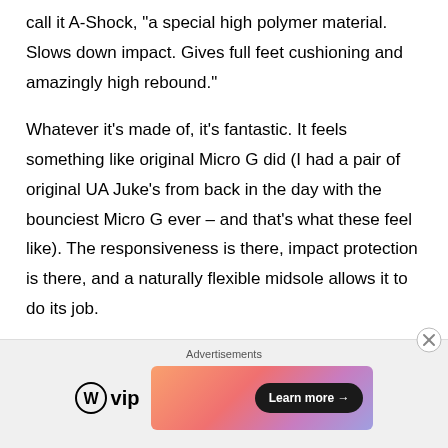call it A-Shock, "a special high polymer material. Slows down impact. Gives full feet cushioning and amazingly high rebound."
Whatever it's made of, it's fantastic. It feels something like original Micro G did (I had a pair of original UA Juke's from back in the day with the bounciest Micro G ever – and that's what these feel like). The responsiveness is there, impact protection is there, and a naturally flexible midsole allows it to do its job.
[Figure (other): Advertisement bar with WordPress VIP logo and a colorful gradient banner with a Learn more button]